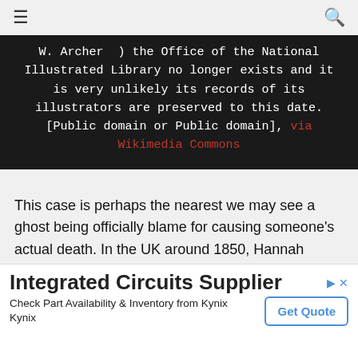☰  🔍
W. Archer  ) the Office of the National Illustrated Library no longer exists and it is very unlikely its records of its illustrators are preserved to this date. [Public domain or Public domain], via Wikimedia Commons
This case is perhaps the nearest we may see a ghost being officially blame for causing someone's actual death. In the UK around 1850, Hannah Rallinson died and the cause of death was noted as fright! It all started when they moved into their house at Campo Lane and met a woman called Harriet Ward. Ward went down into the cellar of the house one day and came back screaming in terror of having seen a ghostly woman's figure down [covered in blood. The local community decided that it must [be the spirit of a murdered previous owner and it was
Integrated Circuits Supplier
Check Part Availability & Inventory from Kynix
Kynix
Get Quote